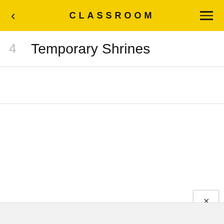CLASSROOM
4  Temporary Shrines